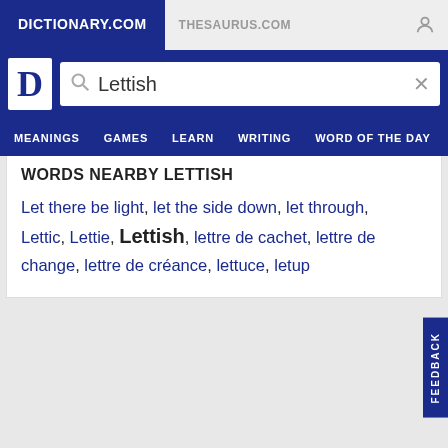DICTIONARY.COM    THESAURUS.COM
WORDS NEARBY LETTISH
Let there be light, let the side down, let through, Lettic, Lettie, Lettish, lettre de cachet, lettre de change, lettre de créance, lettuce, letup